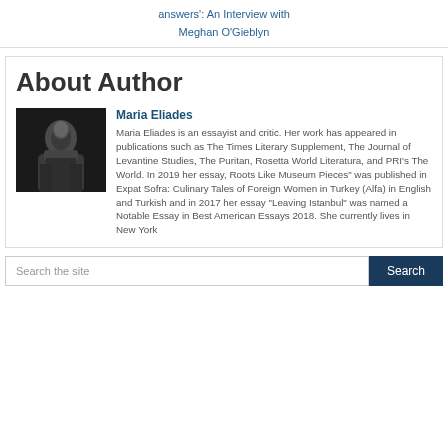answers': An Interview with Meghan O'Gieblyn
About Author
Maria Eliades
[Figure (photo): Black and white portrait photo of Maria Eliades]
Maria Eliades is an essayist and critic. Her work has appeared in publications such as The Times Literary Supplement, The Journal of Levantine Studies, The Puritan, Rosetta World Literatura, and PRI's The World. In 2019 her essay, Roots Like Museum Pieces" was published in Expat Sofra: Culinary Tales of Foreign Women in Turkey (Alfa) in English and Turkish and in 2017 her essay "Leaving Istanbul" was named a Notable Essay in Best American Essays 2018. She currently lives in New York